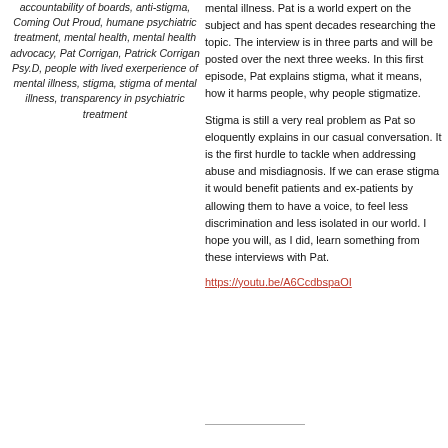accountability of boards, anti-stigma, Coming Out Proud, humane psychiatric treatment, mental health, mental health advocacy, Pat Corrigan, Patrick Corrigan Psy.D, people with lived exerperience of mental illness, stigma, stigma of mental illness, transparency in psychiatric treatment
mental illness. Pat is a world expert on the subject and has spent decades researching the topic. The interview is in three parts and will be posted over the next three weeks. In this first episode, Pat explains stigma, what it means, how it harms people, why people stigmatize.
Stigma is still a very real problem as Pat so eloquently explains in our casual conversation. It is the first hurdle to tackle when addressing abuse and misdiagnosis. If we can erase stigma it would benefit patients and ex-patients by allowing them to have a voice, to feel less discrimination and less isolated in our world. I hope you will, as I did, learn something from these interviews with Pat.
https://youtu.be/A6CcdbspaOI